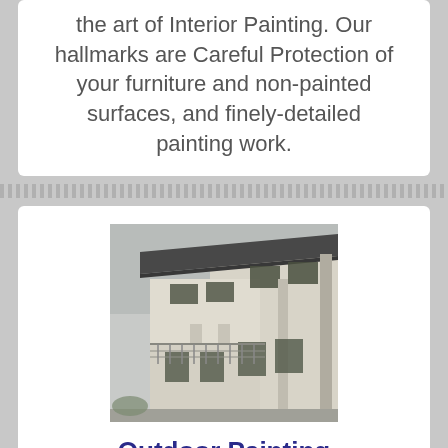the art of Interior Painting. Our hallmarks are Careful Protection of your furniture and non-painted surfaces, and finely-detailed painting work.
[Figure (photo): Exterior photograph of a modern multi-storey building with white/cream rendered walls, large windows, metal balustrade railings, and a dark flat roof canopy overhang. The building has two visible floors with columns and a staircase area visible.]
Outdoor Painting